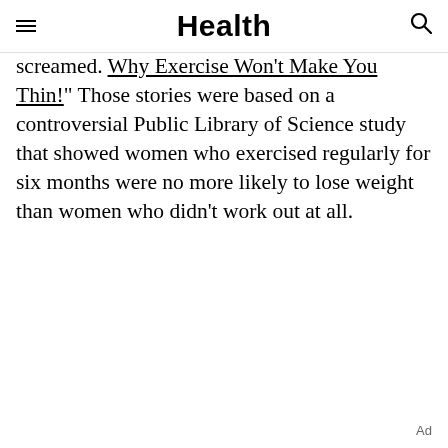Health
screamed. "Why Exercise Won't Make You Thin!" Those stories were based on a controversial Public Library of Science study that showed women who exercised regularly for six months were no more likely to lose weight than women who didn't work out at all.
Ad